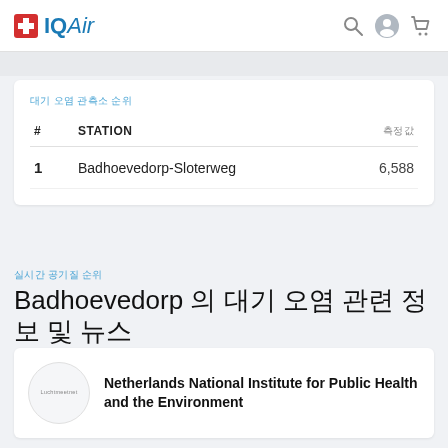IQAir
대기 오염 관측소 순위
| # | STATION | 측정값 |
| --- | --- | --- |
| 1 | Badhoevedorp-Sloterweg | 6,588 |
실시간 공기질 순위
Badhoevedorp 의 대기 오염 관련 정보 및 뉴스
Netherlands National Institute for Public Health and the Environment